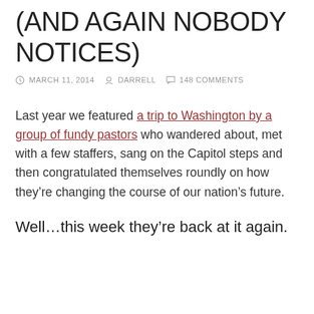(AND AGAIN NOBODY NOTICES)
MARCH 11, 2014   DARRELL   148 COMMENTS
Last year we featured a trip to Washington by a group of fundy pastors who wandered about, met with a few staffers, sang on the Capitol steps and then congratulated themselves roundly on how they’re changing the course of our nation’s future.
Well…this week they’re back at it again.